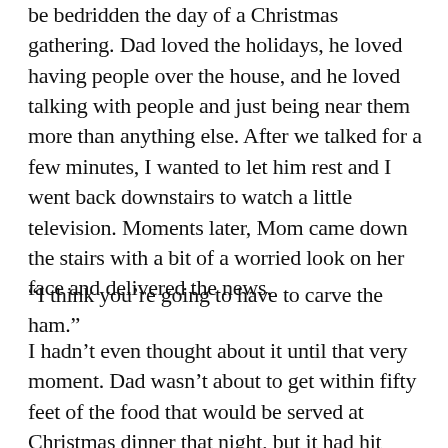be bedridden the day of a Christmas gathering. Dad loved the holidays, he loved having people over the house, and he loved talking with people and just being near them more than anything else. After we talked for a few minutes, I wanted to let him rest and I went back downstairs to watch a little television. Moments later, Mom came down the stairs with a bit of a worried look on her face and delivered the news.
“I think you’re going to have to carve the ham.”
I hadn’t even thought about it until that very moment. Dad wasn’t about to get within fifty feet of the food that would be served at Christmas dinner that night, but it had hit Mom that she